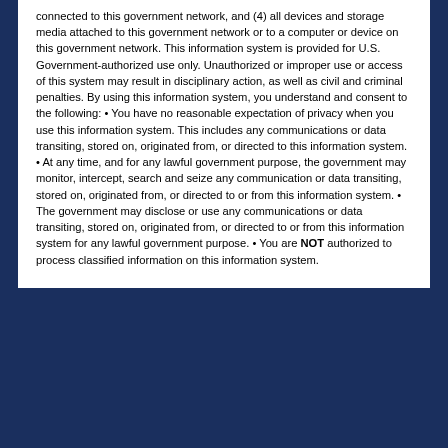connected to this government network, and (4) all devices and storage media attached to this government network or to a computer or device on this government network. This information system is provided for U.S. Government-authorized use only. Unauthorized or improper use or access of this system may result in disciplinary action, as well as civil and criminal penalties. By using this information system, you understand and consent to the following: • You have no reasonable expectation of privacy when you use this information system. This includes any communications or data transiting, stored on, originated from, or directed to this information system. • At any time, and for any lawful government purpose, the government may monitor, intercept, search and seize any communication or data transiting, stored on, originated from, or directed to or from this information system. • The government may disclose or use any communications or data transiting, stored on, originated from, or directed to or from this information system for any lawful government purpose. • You are NOT authorized to process classified information on this information system.